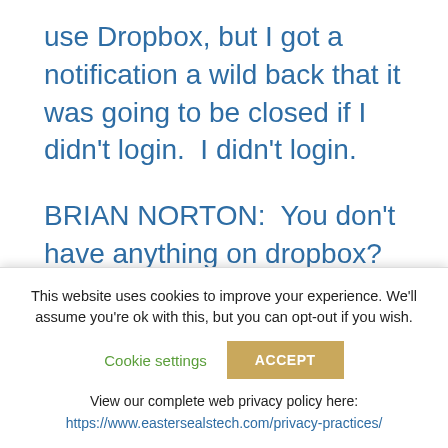use Dropbox, but I got a notification a wild back that it was going to be closed if I didn't login.  I didn't login.
BRIAN NORTON:  You don't have anything on dropbox?
BELVA SMITH:  No.
BRIAN NORTON:  To use any other ones?
Box.net, Google Drive?
This website uses cookies to improve your experience. We'll assume you're ok with this, but you can opt-out if you wish.
Cookie settings
ACCEPT
View our complete web privacy policy here:
https://www.eastersealstech.com/privacy-practices/